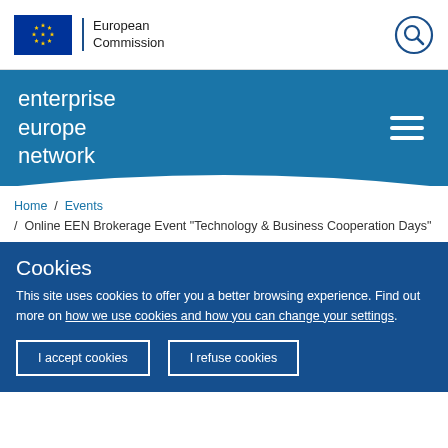European Commission
[Figure (logo): Enterprise Europe Network logo with EU flag and European Commission branding]
Home / Events / Online EEN Brokerage Event "Technology & Business Cooperation Days"
Cookies
This site uses cookies to offer you a better browsing experience. Find out more on how we use cookies and how you can change your settings.
I accept cookies | I refuse cookies